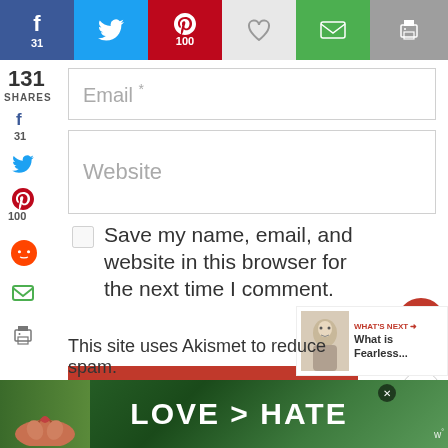[Figure (screenshot): Social media share bar with Facebook (31), Twitter, Pinterest (100), heart, email, and print buttons]
131 SHARES
[Figure (screenshot): Email input field with placeholder text 'Email *']
[Figure (screenshot): Website input field with placeholder text 'Website']
Save my name, email, and website in this browser for the next time I comment.
[Figure (screenshot): Post Comment button in red]
[Figure (screenshot): Floating heart widget showing 133 and share icon]
[Figure (screenshot): What's Next widget with thumbnail and text 'What is Fearless...']
This site uses Akismet to reduce spam.
[Figure (screenshot): Advertisement banner showing 'LOVE > HATE' with hands forming heart shape]